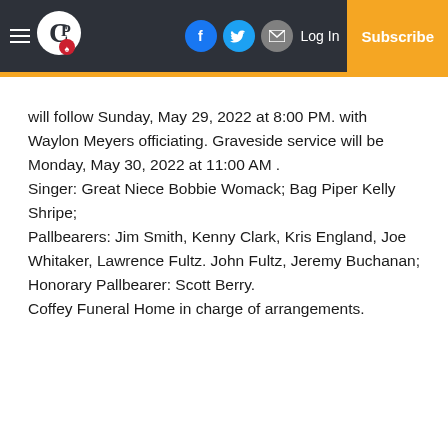CP [logo] | Facebook | Twitter | Email | Log In | Subscribe
will follow Sunday, May 29, 2022 at 8:00 PM. with Waylon Meyers officiating. Graveside service will be Monday, May 30, 2022 at 11:00 AM . Singer: Great Niece Bobbie Womack; Bag Piper Kelly Shripe; Pallbearers: Jim Smith, Kenny Clark, Kris England, Joe Whitaker, Lawrence Fultz. John Fultz, Jeremy Buchanan; Honorary Pallbearer: Scott Berry. Coffey Funeral Home in charge of arrangements.